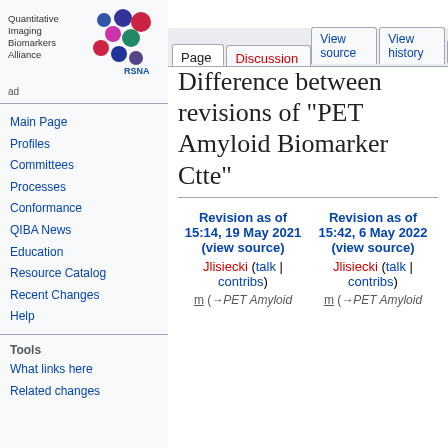Log in
[Figure (logo): Quantitative Imaging Biomarkers Alliance logo with colorful dots and RSNA text]
Page | Discussion | View source | View history | Search QI
Difference between revisions of "PET Amyloid Biomarker Ctte"
Main Page
Profiles
Committees
Processes
Conformance
QIBA News
Education
Resource Catalog
Recent Changes
Help
Tools
What links here
Related changes
| Revision as of 15:14, 19 May 2021 (view source) | Revision as of 15:42, 6 May 2022 (view source) |
| --- | --- |
| Jlisiecki (talk | contribs) | Jlisiecki (talk | contribs) |
| m (→PET Amyloid | m (→PET Amyloid |